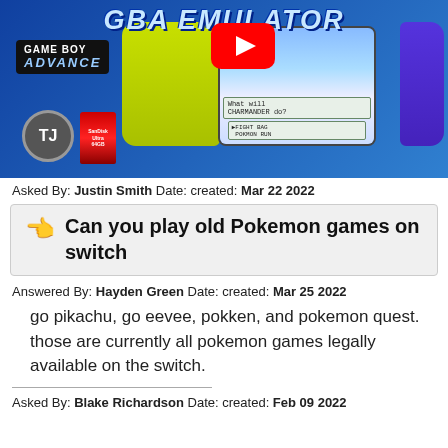[Figure (screenshot): YouTube thumbnail for a GBA Emulator video featuring Game Boy Advance logo, Nintendo Switch with yellow/green Joy-Con, Pokémon game on screen, TJ logo circle, SD card, and YouTube play button]
Asked By: Justin Smith Date: created: Mar 22 2022
Can you play old Pokemon games on switch
Answered By: Hayden Green Date: created: Mar 25 2022
go pikachu, go eevee, pokken, and pokemon quest. those are currently all pokemon games legally available on the switch.
Asked By: Blake Richardson Date: created: Feb 09 2022